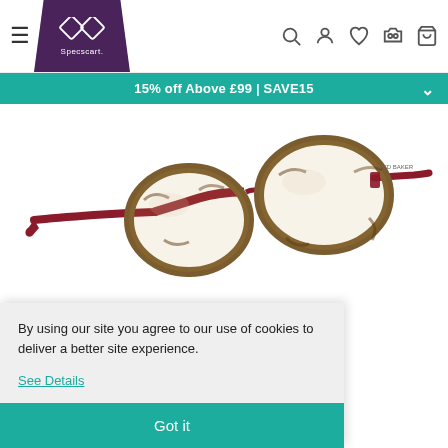Specscart header with hamburger menu, logo, search, account, wishlist, try-on and cart icons
15% off Above £99 | SAVE15
[Figure (photo): Ted Baker eyeglasses frames with tortoiseshell brown frames and red/burgundy temple arms, shown at an angle on white background]
Brand : Ted Baker
Gender : Men/Women
By using our site you agree to our use of cookies to deliver a better site experience.
See Details
Got it